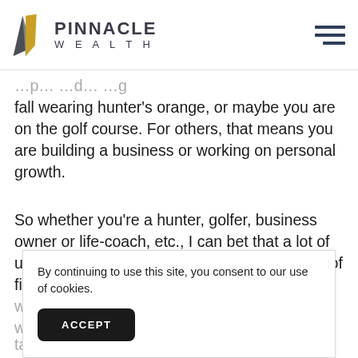PINNACLE WEALTH
fall wearing hunter's orange, or maybe you are on the golf course. For others, that means you are building a business or working on personal growth.
So whether you're a hunter, golfer, business owner or life-coach, etc., I can bet that a lot of us have at least one goal involving some sort of financial planning. So, where do we begin as we journey towards whatever ta
By continuing to use this site, you consent to our use of cookies.
ACCEPT